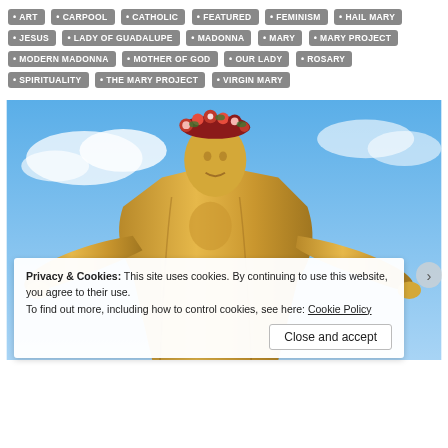ART
CARPOOL
CATHOLIC
FEATURED
FEMINISM
HAIL MARY
JESUS
LADY OF GUADALUPE
MADONNA
MARY
MARY PROJECT
MODERN MADONNA
MOTHER OF GOD
OUR LADY
ROSARY
SPIRITUALITY
THE MARY PROJECT
VIRGIN MARY
[Figure (photo): A golden statue of the Virgin Mary with arms outstretched and a floral crown, photographed against a blue sky with clouds.]
Privacy & Cookies: This site uses cookies. By continuing to use this website, you agree to their use.
To find out more, including how to control cookies, see here: Cookie Policy
Close and accept